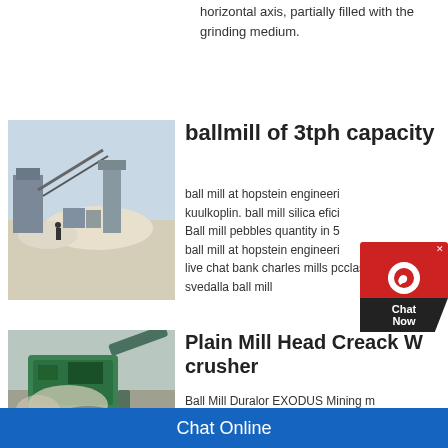horizontal axis, partially filled with the grinding medium.
ballmill of 3tph capacity
[Figure (photo): Industrial ball mill / crushing plant equipment with conveyor belts and machinery outdoors]
ball mill at hopstein engineering kuulkoplin. ball mill silica efici... Ball mill pebbles quantity in 5... ball mill at hopstein engineering... live chat bank charles mills pcclason... svedalla ball mill
Plain Mill Head Creack W crusher
[Figure (photo): Crusher machine in operation with rocks and dust, green machinery visible]
Ball Mill Duralor EXODUS Mining m... India Jumbo Mining Machine And w...
Chat Online